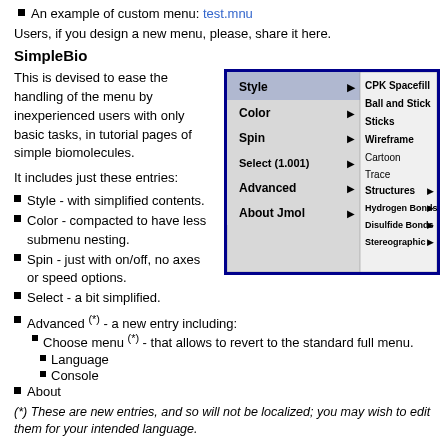An example of custom menu: test.mnu
Users, if you design a new menu, please, share it here.
SimpleBio
This is devised to ease the handling of the menu by inexperienced users with only basic tasks, in tutorial pages of simple biomolecules.
It includes just these entries:
[Figure (screenshot): Screenshot of SimpleBio menu showing Style, Color, Spin, Select (1.001), Advanced, About Jmol entries with submenu items CPK Spacefill, Ball and Stick, Sticks, Wireframe, Cartoon, Trace, Structures, Hydrogen Bonds, Disulfide Bonds, Stereographic on top of a molecular visualization]
Style - with simplified contents.
Color - compacted to have less submenu nesting.
Spin - just with on/off, no axes or speed options.
Select - a bit simplified.
Advanced (*) - a new entry including:
Choose menu (*) - that allows to revert to the standard full menu.
Language
Console
About
(*) These are new entries, and so will not be localized; you may wish to edit them for your intended language.